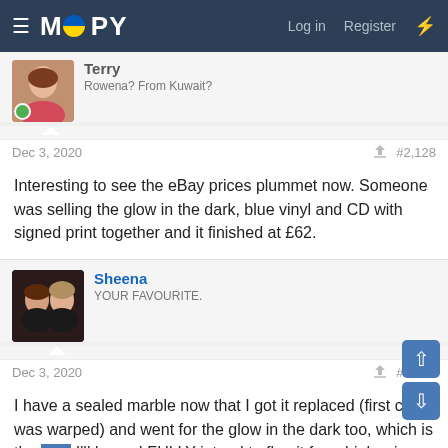MOOPY — Log in  Register
Terry
Rowena? From Kuwait?
Dec 3, 2020  #2,128
Interesting to see the eBay prices plummet now. Someone was selling the glow in the dark, blue vinyl and CD with signed print together and it finished at £62.
Sheena
YOUR FAVOURITE.
Dec 3, 2020  #2,129
I have a sealed marble now that I got it replaced (first copy was warped) and went for the glow in the dark too, which is the one I'll keep. I FULLY intend to flog it for a high price. THAT had better stay up in price.